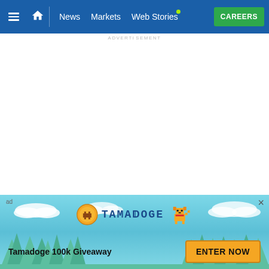News | Markets | Web Stories | CAREERS
ADVERTISEMENT
[Figure (illustration): White blank content area (advertisement placeholder)]
[Figure (illustration): Tamadoge 100k Giveaway advertisement banner with pixel-art dog logo, teal sky background with clouds and trees, and ENTER NOW button]
ad
Tamadoge 100k Giveaway
ENTER NOW